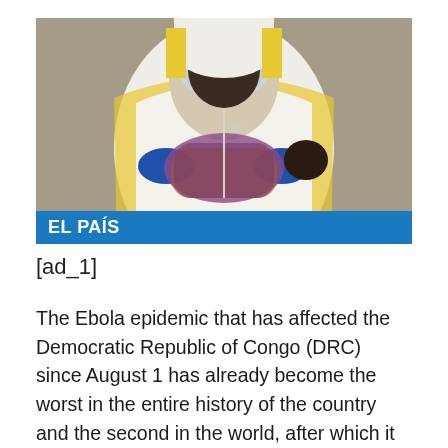[Figure (photo): A healthcare worker in full white and yellow PPE (personal protective equipment) including face shield, holding a wrapped infant/baby. The worker wears blue gloves. An EL PAÍS logo banner is overlaid at the bottom of the image.]
[ad_1]
The Ebola epidemic that has affected the Democratic Republic of Congo (DRC) since August 1 has already become the worst in the entire history of the country and the second in the world, after which it affected West Africa 2014–2016. According to the...